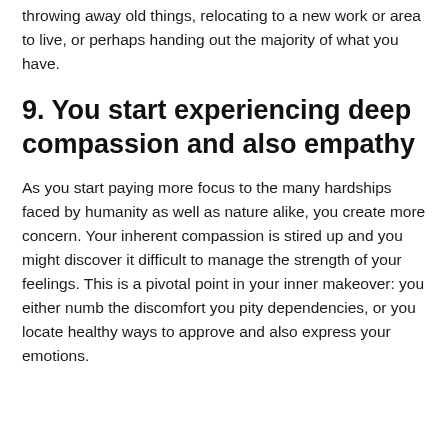throwing away old things, relocating to a new work or area to live, or perhaps handing out the majority of what you have.
9. You start experiencing deep compassion and also empathy
As you start paying more focus to the many hardships faced by humanity as well as nature alike, you create more concern. Your inherent compassion is stired up and you might discover it difficult to manage the strength of your feelings. This is a pivotal point in your inner makeover: you either numb the discomfort you pity dependencies, or you locate healthy ways to approve and also express your emotions.